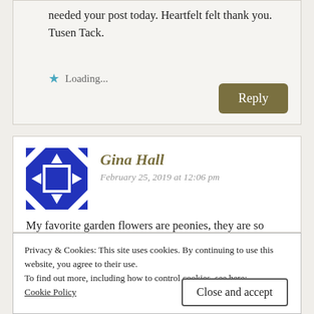needed your post today. Heartfelt felt thank you. Tusen Tack.
Loading...
Reply
Gina Hall
February 25, 2019 at 12:06 pm
My favorite garden flowers are peonies, they are so gorgeous come in
Privacy & Cookies: This site uses cookies. By continuing to use this website, you agree to their use.
To find out more, including how to control cookies, see here:
Cookie Policy
Close and accept